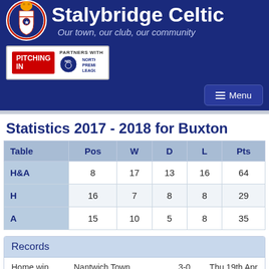Stalybridge Celtic – Our town, our club, our community
[Figure (logo): Stalybridge Celtic club crest]
[Figure (logo): Pitching In – Partners with Northern Premier League badge]
Statistics 2017 - 2018 for Buxton
| Table | Pos | W | D | L | Pts |
| --- | --- | --- | --- | --- | --- |
| H&A | 8 | 17 | 13 | 16 | 64 |
| H | 16 | 7 | 8 | 8 | 29 |
| A | 15 | 10 | 5 | 8 | 35 |
Records
Home win    Nantwich Town    3-0    Thu 19th Apr